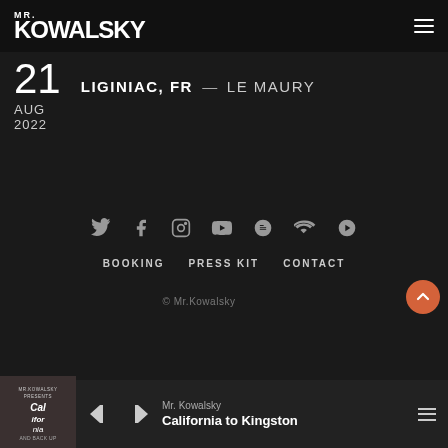MR. KOWALSKY
21 AUG 2022 — LIGINIAC, FR — LE MAURY
[Figure (other): Social media icons row: Twitter, Facebook, Instagram, YouTube, Spotify, SoundCloud, Bandcamp]
BOOKING   PRESS KIT   CONTACT
© Mr.Kowalsky
Mr. Kowalsky — California to Kingston (music player bar)